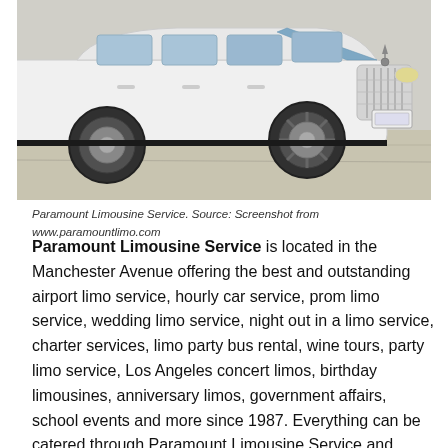[Figure (photo): A white Rolls-Royce luxury limousine photographed from the side/front angle, showing the distinctive chrome grille, hood ornament, and front wheel. The car is white with blue accents on the hood.]
Paramount Limousine Service. Source: Screenshot from www.paramountlimo.com
Paramount Limousine Service is located in the Manchester Avenue offering the best and outstanding airport limo service, hourly car service, prom limo service, wedding limo service, night out in a limo service, charter services, limo party bus rental, wine tours, party limo service, Los Angeles concert limos, birthday limousines, anniversary limos, government affairs, school events and more since 1987. Everything can be catered through Paramount Limousine Service and guaranteed their rates are lower than other businesses offering the same services. Their company offers discounts as well and excellent customer service.